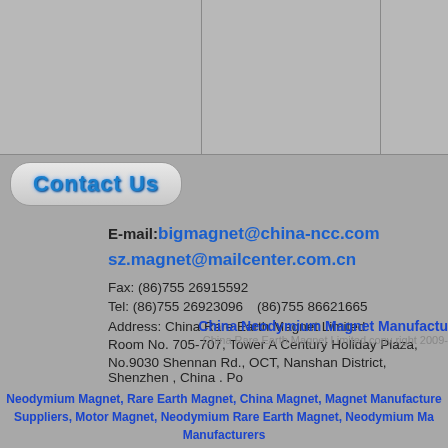|  |  |  |  |
[Figure (other): Contact Us button with blue text on gray rounded rectangle]
E-mail:bigmagnet@china-ncc.com
sz.magnet@mailcenter.com.cn
Fax: (86)755 26915592
Tel: (86)755 26923096 (86)755 86621665
Address: China Rare Earth Magnet Limited
Room No. 705-707, Tower A Century Holiday Plaza,
No.9030 Shennan Rd., OCT, Nanshan District, Shenzhen , China . Po
China Neodymium Magnet Manufactu
China Rare Earth Magnet Limited copy right 2009-
Neodymium Magnet, Rare Earth Magnet, China Magnet, Magnet Manufacture Suppliers, Motor Magnet, Neodymium Rare Earth Magnet, Neodymium Ma Manufacturers